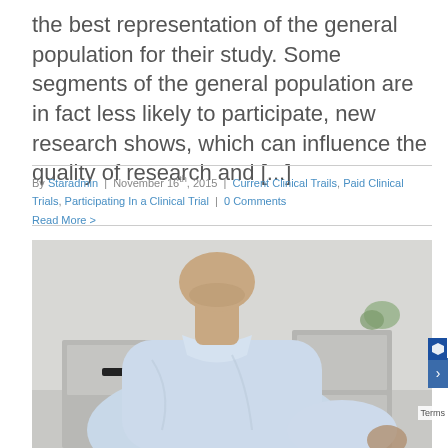the best representation of the general population for their study. Some segments of the general population are in fact less likely to participate, new research shows, which can influence the quality of research and [...]
By Staradmin | November 16th, 2015 | Current Clinical Trails, Paid Clinical Trials, Participating In a Clinical Trial | 0 Comments
Read More >
[Figure (photo): A man in a light blue polo shirt viewed from behind/side, appearing to be in an office or clinical setting with filing cabinets visible in the background.]